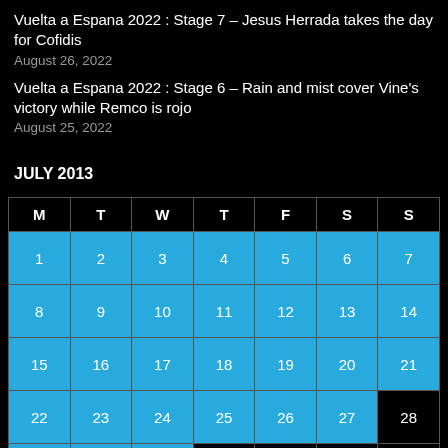Vuelta a Espana 2022 : Stage 7 – Jesus Herrada takes the day for Cofidis
August 26, 2022
Vuelta a Espana 2022 : Stage 6 – Rain and mist cover Vine's victory while Remco is rojo
August 25, 2022
JULY 2013
| M | T | W | T | F | S | S |
| --- | --- | --- | --- | --- | --- | --- |
| 1 | 2 | 3 | 4 | 5 | 6 | 7 |
| 8 | 9 | 10 | 11 | 12 | 13 | 14 |
| 15 | 16 | 17 | 18 | 19 | 20 | 21 |
| 22 | 23 | 24 | 25 | 26 | 27 | 28 |
| 29 | 30 | 31 |  |  |  |  |